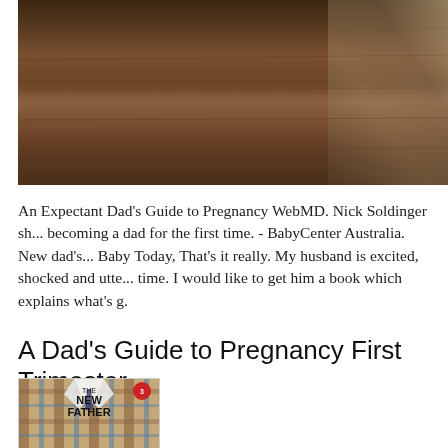[Figure (photo): Background photo of a wooden table surface with a blurred glass object in the upper right corner]
An Expectant Dad's Guide to Pregnancy WebMD. Nick Soldinger sh... becoming a dad for the first time. - BabyCenter Australia. New dad's... Baby Today, That's it really. My husband is excited, shocked and utte... time. I would like to get him a book which explains what's g.
A Dad's Guide to Pregnancy First Trimester
[Figure (photo): Book cover of 'The New Father: A Dad's Guide' showing a plaid shirt folded on the cover with a red edition badge]